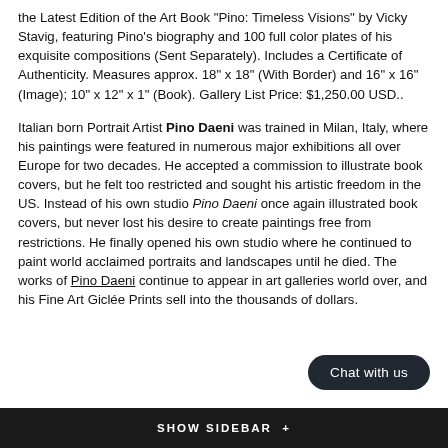the Latest Edition of the Art Book "Pino: Timeless Visions" by Vicky Stavig, featuring Pino's biography and 100 full color plates of his exquisite compositions (Sent Separately). Includes a Certificate of Authenticity. Measures approx. 18" x 18" (With Border) and 16" x 16" (Image); 10" x 12" x 1" (Book). Gallery List Price: $1,250.00 USD..
Italian born Portrait Artist Pino Daeni was trained in Milan, Italy, where his paintings were featured in numerous major exhibitions all over Europe for two decades. He accepted a commission to illustrate book covers, but he felt too restricted and sought his artistic freedom in the US. Instead of his own studio Pino Daeni once again illustrated book covers, but never lost his desire to create paintings free from restrictions. He finally opened his own studio where he continued to paint world acclaimed portraits and landscapes until he died. The works of Pino Daeni continue to appear in art galleries world over, and his Fine Art Giclée Prints sell into the thousands of dollars.
SHOW SIDEBAR +